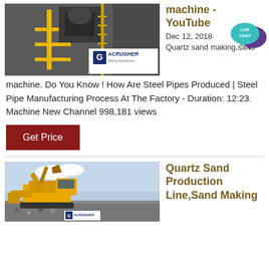[Figure (photo): Industrial machinery photo with yellow railings and ACrusher Mining Equipment logo overlay]
machine - YouTube
Dec 12, 2018· Quartz sand making,sand machine. Do You Know ! How Are Steel Pipes Produced | Steel Pipe Manufacturing Process At The Factory - Duration: 12:23. Machine New Channel 998,181 views
[Figure (logo): LIVE CHAT bubble icon in teal/purple]
Get Price
[Figure (photo): Large yellow mining/quarry machinery with excavator on gravel site, ACrusher logo at bottom]
Quartz Sand Production Line,Sand Making